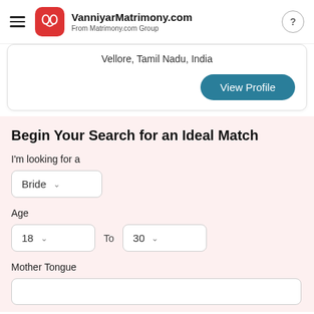VanniyarMatrimony.com — From Matrimony.com Group
Vellore, Tamil Nadu, India
View Profile
Begin Your Search for an Ideal Match
I'm looking for a
Bride
Age
18 To 30
Mother Tongue